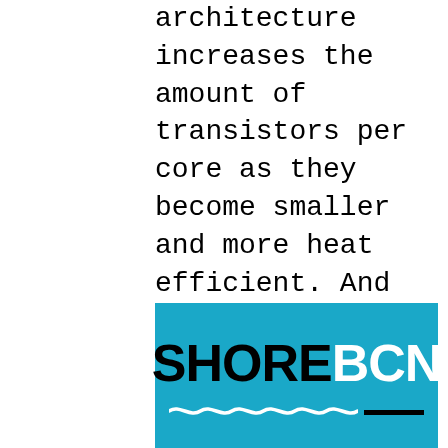architecture increases the amount of transistors per core as they become smaller and more heat efficient. And every architecture has a limit for heat dissipation. As Intel has learned from their past endeavors, they have been able to start newer architectures closer to the edge of the heat transfer limit. Thus we saw a big jump from early to late Pentium 4, from Pentium 4
[Figure (logo): SHORE BCN logo on a cyan/teal blue background. 'SHORE' in large bold black text, 'BCN' in large bold white text, with wave underline decoration and a black horizontal line.]